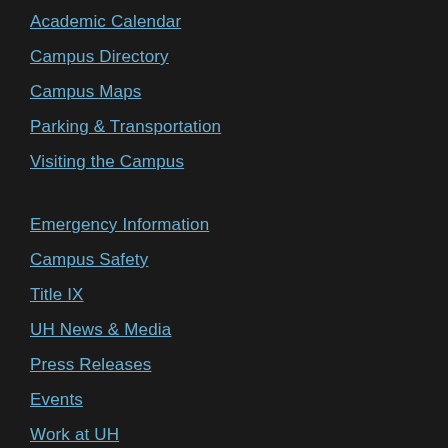Academic Calendar
Campus Directory
Campus Maps
Parking & Transportation
Visiting the Campus
Emergency Information
Campus Safety
Title IX
UH News & Media
Press Releases
Events
Work at UH
campusHELP
UH Email
MyUH